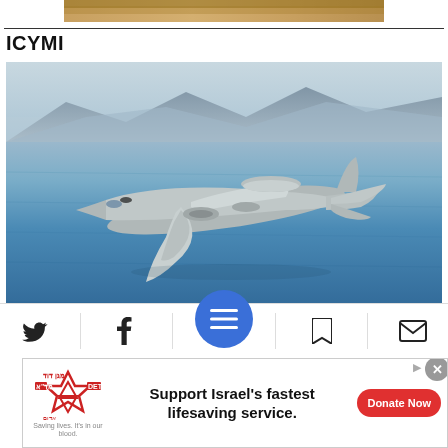[Figure (photo): Cropped top portion of a person's face/hair visible at top of page]
ICYMI
[Figure (photo): A gray military surveillance/spy aircraft (Gulfstream G550 CAEW type) flying over a large body of water with mountains in the background]
Secret NATO Client of Israeli Spy Planes Revealed
[Figure (infographic): Bottom navigation toolbar with Twitter, Facebook, bookmark, and email icons, plus a centered blue circular menu button with three horizontal lines]
[Figure (infographic): Advertisement banner: Magen David Adom logo, text 'Support Israel's fastest lifesaving service.' and a red Donate Now button]